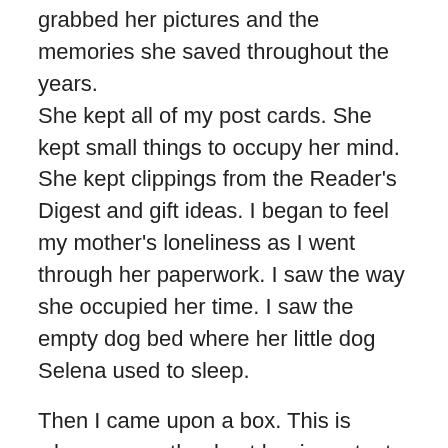grabbed her pictures and the memories she saved throughout the years. She kept all of my post cards. She kept small things to occupy her mind. She kept clippings from the Reader's Digest and gift ideas. I began to feel my mother's loneliness as I went through her paperwork. I saw the way she occupied her time. I saw the empty dog bed where her little dog Selena used to sleep.

Then I came upon a box. This is where my mother kept her important memories. There was a picture I drew for her when I was in grade school with the word, “Mommy,” written across the top of the page.
My handwriting was terrible—which was enough to make me laugh at myself. I found postcards I wrote to my mother when I was a young boy at sleep-away camp. I never really enjoyed camp. I never wanted to go but The